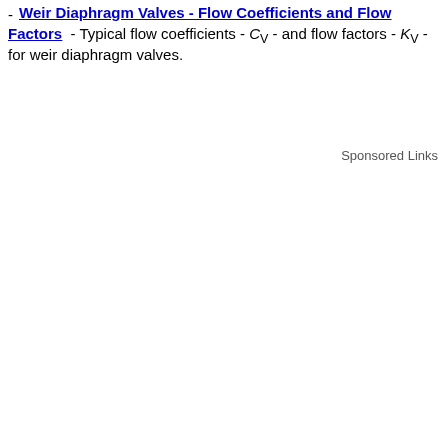Weir Diaphragm Valves - Flow Coefficients and Flow Factors - Typical flow coefficients - Cv - and flow factors - Kv - for weir diaphragm valves.
Sponsored Links